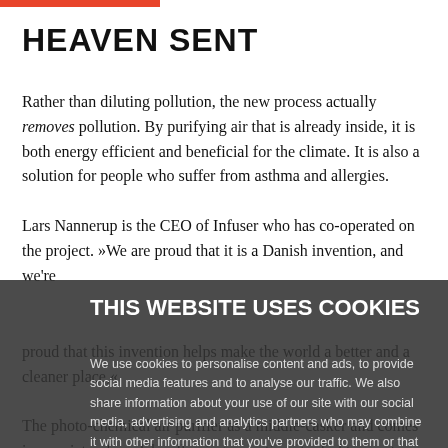HEAVEN SENT
Rather than diluting pollution, the new process actually removes pollution. By purifying air that is already inside, it is both energy efficient and beneficial for the climate. It is also a solution for people who suffer from asthma and allergies.
Lars Nannerup is the CEO of Infuser who has co-operated on the project. »We are proud that it is a Danish invention, and we're proud that this invention helps make the world a better and a cleaner place,«
THIS WEBSITE USES COOKIES
The photo-chemical air purifier as a middle-casker and comes in a variety of models, allowing operations to desktop systems.
We use cookies to personalise content and ads, to provide social media features and to analyse our traffic. We also share information about your use of our site with our social media, advertising and analytics partners who may combine it with other information that you've provided to them or that they've collected from your use of their services.